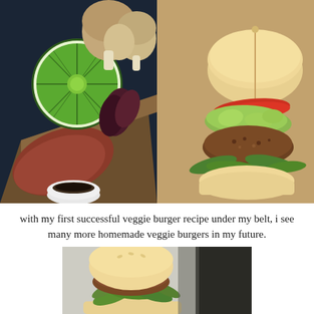[Figure (photo): Close-up of fresh vegetables on a wooden tray: a sliced lime, mushrooms, dried chilies, and sweet potato, with a small bowl of dark sauce visible at the bottom. Dark background.]
[Figure (photo): A veggie burger slider on a bun with guacamole, tomato slices, arugula, and a breaded patty, held together with a toothpick. Warm brown background.]
with my first successful veggie burger recipe under my belt, i see many more homemade veggie burgers in my future.
[Figure (photo): A veggie burger slider on a bun with arugula greens visible, photographed from above at an angle on a light surface.]